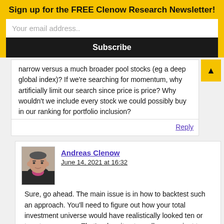Sign up for the FREE Clenow Research Newsletter!
Your email address..
Subscribe
narrow versus a much broader pool stocks (eg a deep global index)? If we're searching for momentum, why artificially limit our search since price is price? Why wouldn't we include every stock we could possibly buy in our ranking for portfolio inclusion?
Reply
Andreas Clenow
June 14, 2021 at 16:32
Sure, go ahead. The main issue is in how to backtest such an approach. You'll need to figure out how your total investment universe would have realistically looked ten or twenty years ago. That's when it gets really convenient to use an index. By using historical index